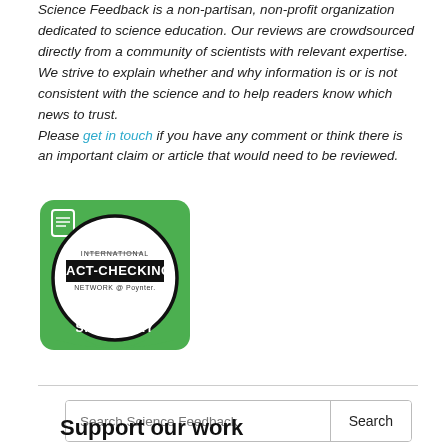Science Feedback is a non-partisan, non-profit organization dedicated to science education. Our reviews are crowdsourced directly from a community of scientists with relevant expertise. We strive to explain whether and why information is or is not consistent with the science and to help readers know which news to trust. Please get in touch if you have any comment or think there is an important claim or article that would need to be reviewed.
[Figure (logo): International Fact-Checking Network @ Poynter SIGNATORY badge — green circular badge with a white circle in the center containing the IFCN logo and 'FACT-CHECKING NETWORK @ Poynter' text, a small document icon in the top-left, and 'SIGNATORY' in white text on the green band at the bottom.]
Search Science Feedback
Support our work